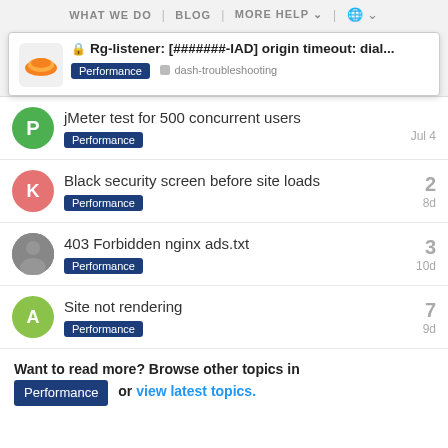WHAT WE DO | BLOG | MORE HELP | (globe)
🔒 Rg-listener: [#######-IAD] origin timeout: dial...
Performance  dash-troubleshooting
jMeter test for 500 concurrent users — Performance — Jul 4
Black security screen before site loads — Performance — 2 — 8d
403 Forbidden nginx ads.txt — Performance — 3 — 10d
Site not rendering — Performance — 7 — 9d
Want to read more? Browse other topics in Performance or view latest topics.